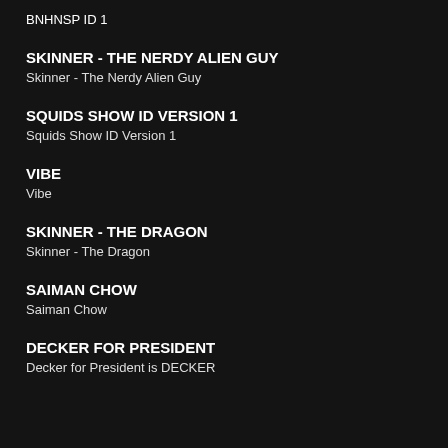BNHNSP ID 1
SKINNER - THE NERDY ALIEN GUY
Skinner - The Nerdy Alien Guy
SQUIDS SHOW ID VERSION 1
Squids Show ID Version 1
VIBE
Vibe
SKINNER - THE DRAGON
Skinner - The Dragon
SAIMAN CHOW
Saiman Chow
DECKER FOR PRESIDENT
Decker for President is DECKER